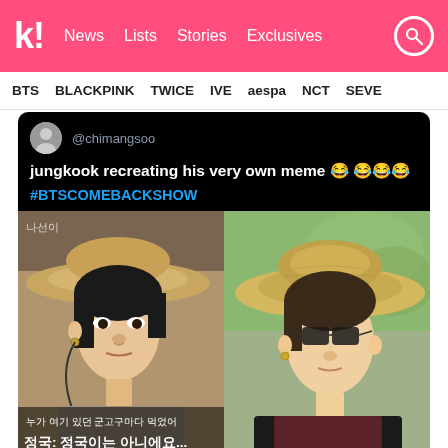Koreaboo — News  Lists  Stories  Exclusives
BTS  BLACKPINK  TWICE  IVE  aespa  NCT  SEVE
[Figure (screenshot): Screenshot of a tweet by @chimangsoo showing side-by-side photos of Jungkook wearing straw hats. Tweet text: 'jungkook recreating his very own meme 😂😂😂😂 #BTSCOMEBACKSHOW'. Korean subtitles visible on left photo. Tweet timestamp: 8:57 AM - May 24, 2018 - Twitter Web Client.]